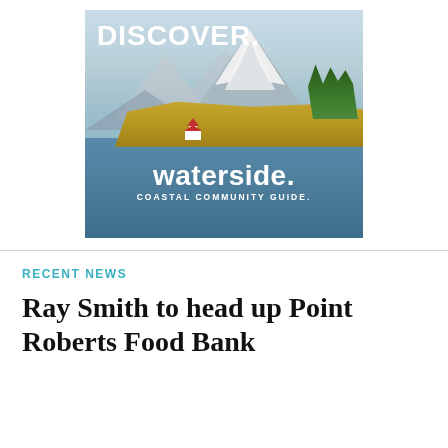[Figure (photo): Cover image of 'waterside. Coastal Community Guide.' showing a coastal scene with a lighthouse on a small island, a snow-capped mountain in the background, blue water in the foreground, and 'DISCOVER.' text at the top in white.]
RECENT NEWS
Ray Smith to head up Point Roberts Food Bank